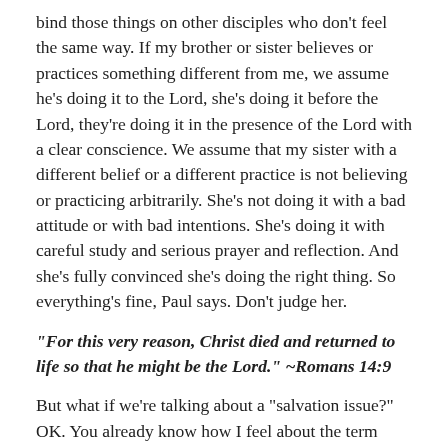bind those things on other disciples who don't feel the same way. If my brother or sister believes or practices something different from me, we assume he's doing it to the Lord, she's doing it before the Lord, they're doing it in the presence of the Lord with a clear conscience. We assume that my sister with a different belief or a different practice is not believing or practicing arbitrarily. She's not doing it with a bad attitude or with bad intentions. She's doing it with careful study and serious prayer and reflection. And she's fully convinced she's doing the right thing. So everything's fine, Paul says. Don't judge her.
“For this very reason, Christ died and returned to life so that he might be the Lord.” ~Romans 14:9
But what if we’re talking about a “salvation issue?” OK. You already know how I feel about the term “salvation issue.” Besides, in this Romans context, Paul never once